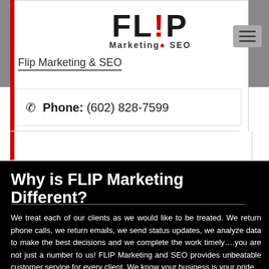[Figure (logo): FLIP Marketing & SEO logo with bold black letters F, L, I, P where the exclamation mark replaces the I dot, in red. Subtitle reads Marketing & SEO.]
Flip Marketing & SEO
Phone: (602) 828-7599
Why is FLIP Marketing Different?
We treat each of our clients as we would like to be treated. We return phone calls, we return emails, we send status updates, we analyze data to make the best decisions and we complete the work timely….you are not just a number to us! FLIP Marketing and SEO provides unbeatable customer service for every client. We know your business is your pride